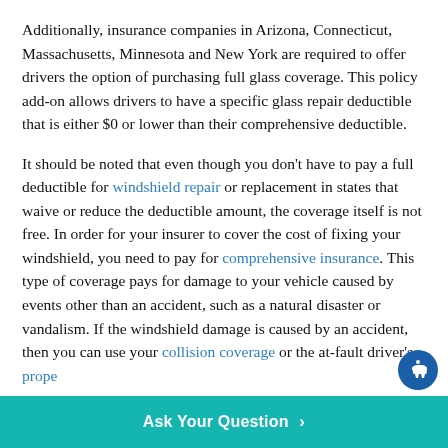Additionally, insurance companies in Arizona, Connecticut, Massachusetts, Minnesota and New York are required to offer drivers the option of purchasing full glass coverage. This policy add-on allows drivers to have a specific glass repair deductible that is either $0 or lower than their comprehensive deductible.
It should be noted that even though you don't have to pay a full deductible for windshield repair or replacement in states that waive or reduce the deductible amount, the coverage itself is not free. In order for your insurer to cover the cost of fixing your windshield, you need to pay for comprehensive insurance. This type of coverage pays for damage to your vehicle caused by events other than an accident, such as a natural disaster or vandalism. If the windshield damage is caused by an accident, then you can use your collision coverage or the at-fault driver's prope...
Ask Your Question >